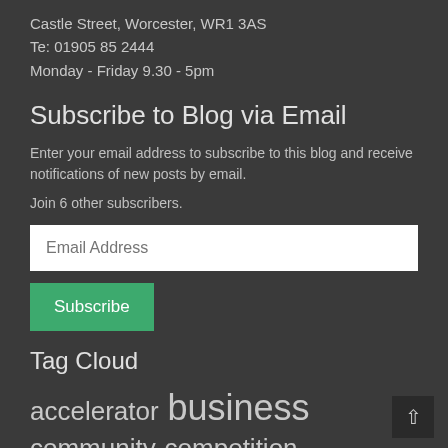Castle Street, Worcester, WR1 3AS
Te: 01905 85 2444
Monday - Friday 9.30 - 5pm
Subscribe to Blog via Email
Enter your email address to subscribe to this blog and receive notifications of new posts by email.
Join 6 other subscribers.
Email Address [input field]
Subscribe [button]
Tag Cloud
accelerator business community competition Crowdfunding cyber Cyber Skills enterprise enterprise skills